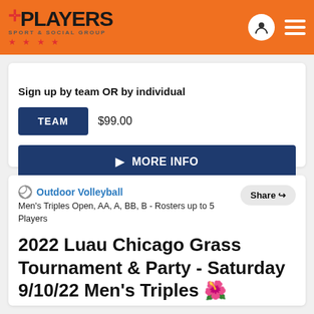PLAYERS Sport & Social Group
Sign up by team OR by individual
TEAM  $99.00
▶ MORE INFO
Outdoor Volleyball
Men's Triples Open, AA, A, BB, B - Rosters up to 5 Players
2022 Luau Chicago Grass Tournament & Party - Saturday 9/10/22 Men's Triples 🌺